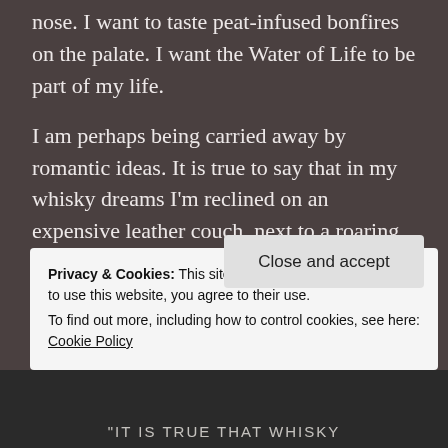nose. I want to taste peat-infused bonfires on the palate. I want the Water of Life to be part of my life.
I am perhaps being carried away by romantic ideas. It is true to say that in my whisky dreams I'm reclined on an expensive leather couch, next to a roaring log fire, glass of malt in my hand, laughing wholeheartedly with a sexy, bestubbled man and having an altogether splendid time. The reality might turn out to be closer to a game of dominoes at a musty lock-in with some lobster-cheeked, bulbous-nosed gents. I don't drink whisky, so I don't
Privacy & Cookies: This site uses cookies. By continuing to use this website, you agree to their use.
To find out more, including how to control cookies, see here: Cookie Policy
Close and accept
[Figure (photo): Bottom portion of page showing a chalkboard with text 'IT IS TRUE THAT WHISKY' visible at the bottom]